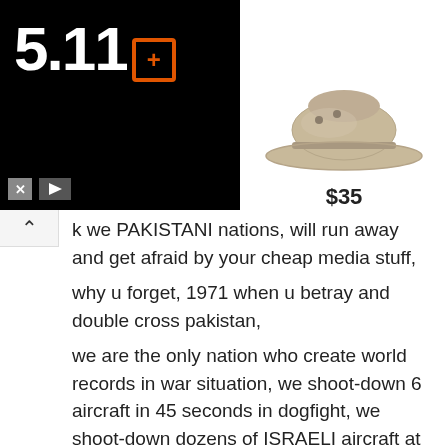[Figure (logo): 5.11 brand logo in white text on black background with orange icon]
[Figure (photo): Tan/khaki boonie hat product photo with price $35]
k we PAKISTANI nations, will run away and get afraid by your cheap media stuff, why u forget, 1971 when u betray and double cross pakistan, we are the only nation who create world records in war situation, we shoot-down 6 aircraft in 45 seconds in dogfight, we shoot-down dozens of ISRAELI aircraft at there home, and not a loose single aircraft. we are the only nation who fought air to air-combat fight with Indian and Israeli and we just screw them, i know the secret of USA what they want from doing this cheap propaganda, usa wants a save exit from afganistan, so in afganistan there is not a single mountain where american flag raise hahaha, you already lost the war , u r looser. huh now by doing this cheap thing to want to provoke the